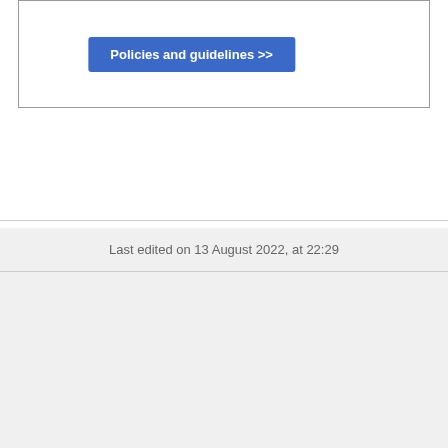Policies and guidelines >>
Last edited on 13 August 2022, at 22:29
[Figure (logo): Wikipedia logo text in serif font]
Content is available under CC BY-SA 3.0 unless otherwise noted.
Terms of Use • Privacy policy • Desktop